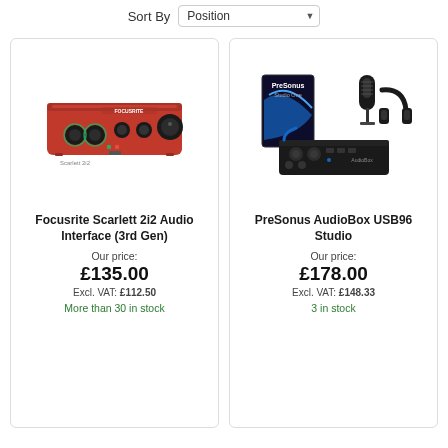Sort By  Position
[Figure (photo): Focusrite Scarlett 2i2 Audio Interface (3rd Gen) - red USB audio interface device]
Focusrite Scarlett 2i2 Audio Interface (3rd Gen)
Our price:
£135.00
Excl. VAT: £112.50
More than 30 in stock
[Figure (photo): PreSonus AudioBox USB96 Studio bundle with audio interface, microphone, headphones, and software]
PreSonus AudioBox USB96 Studio
Our price:
£178.00
Excl. VAT: £148.33
3 in stock